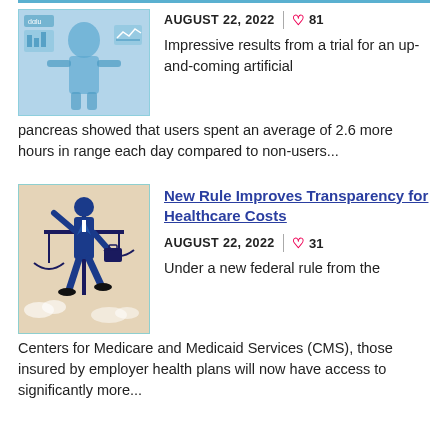[Figure (illustration): Blue-themed illustration showing a human figure with data/medical graphics in background]
AUGUST 22, 2022 | ♡ 81
Impressive results from a trial for an up-and-coming artificial pancreas showed that users spent an average of 2.6 more hours in range each day compared to non-users...
[Figure (illustration): Illustration of a person in suit holding balance scales (justice/law themed), beige background]
New Rule Improves Transparency for Healthcare Costs
AUGUST 22, 2022 | ♡ 31
Under a new federal rule from the Centers for Medicare and Medicaid Services (CMS), those insured by employer health plans will now have access to significantly more...